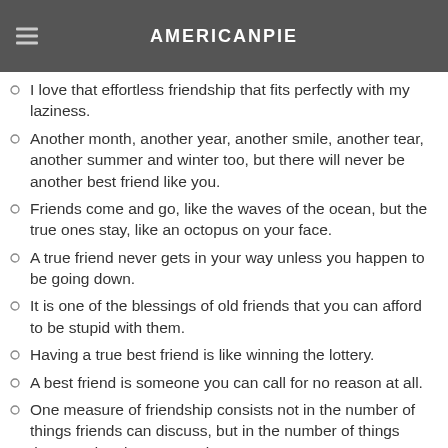AMERICANPIE
I love that effortless friendship that fits perfectly with my laziness.
Another month, another year, another smile, another tear, another summer and winter too, but there will never be another best friend like you.
Friends come and go, like the waves of the ocean, but the true ones stay, like an octopus on your face.
A true friend never gets in your way unless you happen to be going down.
It is one of the blessings of old friends that you can afford to be stupid with them.
Having a true best friend is like winning the lottery.
A best friend is someone you can call for no reason at all.
One measure of friendship consists not in the number of things friends can discuss, but in the number of things they need no longer mention.
A best friend is a person who can make you laugh even when you think that you will never smile again.
Friends distance to...